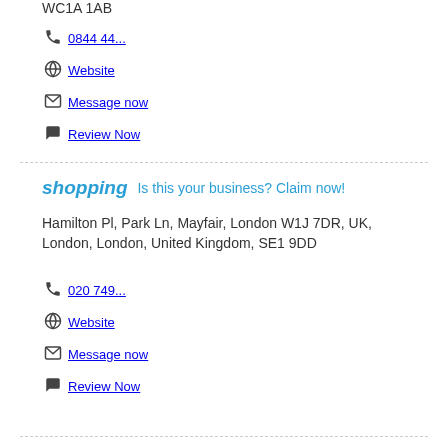WC1A 1AB
📞 0844 44...
🌐 Website
✉ Message now
💬 Review Now
shopping   Is this your business? Claim now!
Hamilton Pl, Park Ln, Mayfair, London W1J 7DR, UK, London, London, United Kingdom, SE1 9DD
📞 020 749...
🌐 Website
✉ Message now
💬 Review Now